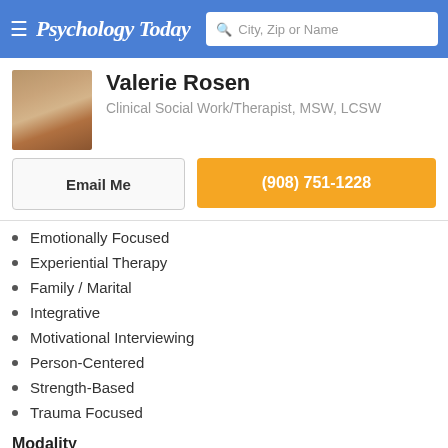Psychology Today — City, Zip or Name search
Valerie Rosen
Clinical Social Work/Therapist, MSW, LCSW
Email Me
(908) 751-1228
Emotionally Focused
Experiential Therapy
Family / Marital
Integrative
Motivational Interviewing
Person-Centered
Strength-Based
Trauma Focused
Modality
Individuals
Couples